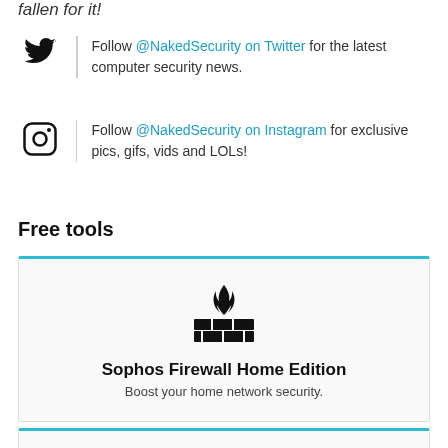fallen for it!
Follow @NakedSecurity on Twitter for the latest computer security news.
Follow @NakedSecurity on Instagram for exclusive pics, gifs, vids and LOLs!
Free tools
[Figure (illustration): Firewall icon: a brick wall with flames above it]
Sophos Firewall Home Edition
Boost your home network security.